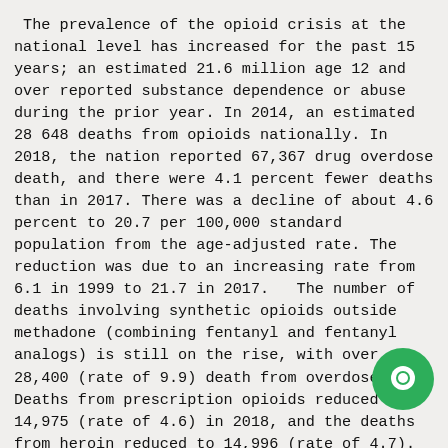The prevalence of the opioid crisis at the national level has increased for the past 15 years; an estimated 21.6 million age 12 and over reported substance dependence or abuse during the prior year. In 2014, an estimated 28 648 deaths from opioids nationally. In 2018, the nation reported 67,367 drug overdose death, and there were 4.1 percent fewer deaths than in 2017. There was a decline of about 4.6 percent to 20.7 per 100,000 standard population from the age-adjusted rate. The reduction was due to an increasing rate from 6.1 in 1999 to 21.7 in 2017.   The number of deaths involving synthetic opioids outside methadone (combining fentanyl and fentanyl analogs) is still on the rise, with over 28,400 (rate of 9.9) death from overdose. Deaths from prescription opioids reduced to 14,975 (rate of 4.6) in 2018, and the deaths from heroin reduced to 14,996 (rate of 4.7). The danger of opioid dependence has disproportionately affected vulnerable and a low-income group of the population with declining access to healthcare, especially in rural areas (National Institute on Drug Abuse {NIDA}, 2021).
[Figure (other): Green circular chat/messenger icon button in the bottom-right corner of the page]